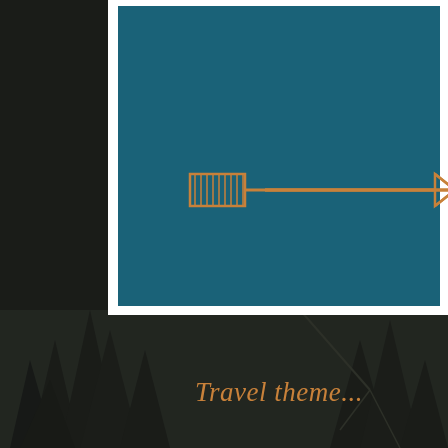[Figure (illustration): Travel theme page layout showing a teal/dark blue rectangle with a decorative arrow pointing right (in tan/copper color), set within a white border frame. The background is a dark forest/night scene photo. Text 'Travel theme...' appears in copper/gold italic font at the bottom right.]
Travel theme...